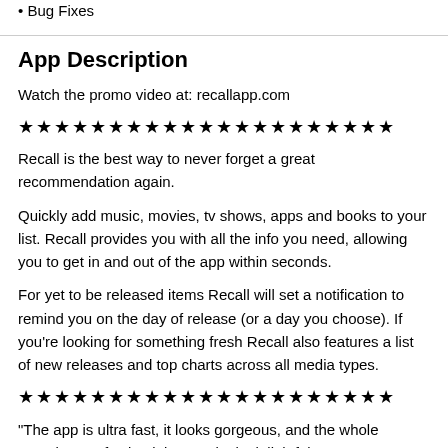Bug Fixes
App Description
Watch the promo video at: recallapp.com
★★★★★★★★★★★★★★★★★★★★★
Recall is the best way to never forget a great recommendation again.
Quickly add music, movies, tv shows, apps and books to your list. Recall provides you with all the info you need, allowing you to get in and out of the app within seconds.
For yet to be released items Recall will set a notification to remind you on the day of release (or a day you choose). If you're looking for something fresh Recall also features a list of new releases and top charts across all media types.
★★★★★★★★★★★★★★★★★★★★★
“The app is ultra fast, it looks gorgeous, and the whole experience of using it is amazingly delightful.